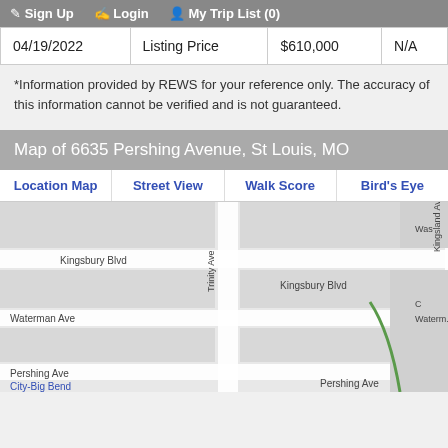Sign Up  Login  My Trip List (0)
| 04/19/2022 | Listing Price | $610,000 | N/A |
*Information provided by REWS for your reference only. The accuracy of this information cannot be verified and is not guaranteed.
Map of 6635 Pershing Avenue, St Louis, MO
Location Map  Street View  Walk Score  Bird's Eye
[Figure (map): Street map showing 6635 Pershing Avenue, St Louis MO, with nearby streets including Kingsbury Blvd, Waterman Ave, Trinity Ave, Kingsland Ave, Pershing Ave, Melville Ave, Westgate Ave. A map pin is shown near 'NO SWEAT Public Speaking!' location.]